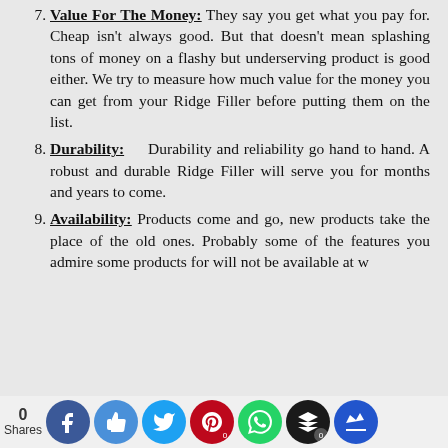7. Value For The Money: They say you get what you pay for. Cheap isn't always good. But that doesn't mean splashing tons of money on a flashy but underserving product is good either. We try to measure how much value for the money you can get from your Ridge Filler before putting them on the list.
8. Durability: Durability and reliability go hand to hand. A robust and durable Ridge Filler will serve you for months and years to come.
9. Availability: Products come and go, new products take the place of the old ones. Probably some of the features you admire some products for will not be available at w…